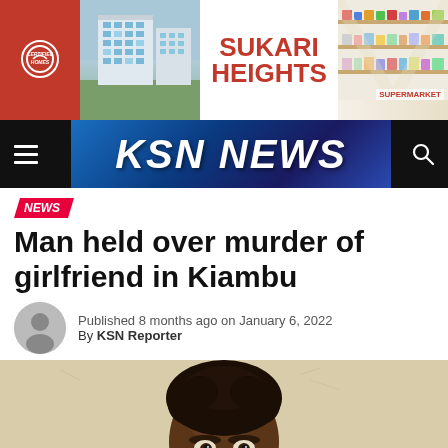[Figure (illustration): Advertisement banner for Certified Homes / Sukari Heights and Supermarket]
[Figure (logo): KSN NEWS navigation bar logo with hamburger menu and search icon]
NEWS
Man held over murder of girlfriend in Kiambu
Published 8 months ago on January 6, 2022
By KSN Reporter
[Figure (photo): Photo of a young man facing the camera against a light-colored wall]